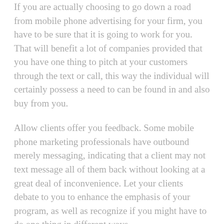If you are actually choosing to go down a road from mobile phone advertising for your firm, you have to be sure that it is going to work for you. That will benefit a lot of companies provided that you have one thing to pitch at your customers through the text or call, this way the individual will certainly possess a need to can be found in and also buy from you.
Allow clients offer you feedback. Some mobile phone marketing professionals have outbound merely messaging, indicating that a client may not text message all of them back without looking at a great deal of inconvenience. Let your clients debate to you to enhance the emphasis of your program, as well as recognize if you might have to do one thing in different ways.